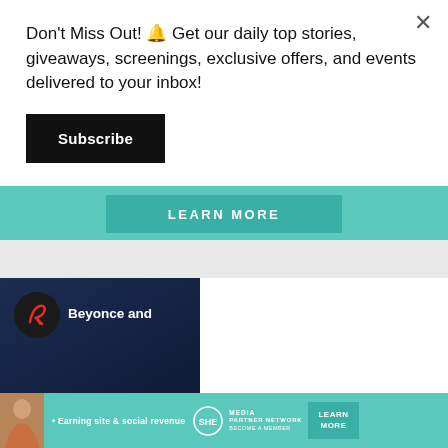Don't Miss Out! 🔔 Get our daily top stories, giveaways, screenings, exclusive offers, and events delivered to your inbox!
Subscribe
LEARN MORE
[Figure (screenshot): Video thumbnail with dark blue background showing a logo (stylized 'b' in red/orange) and partial text 'Beyonce and']
[Figure (infographic): SHE Partner Network advertisement banner with teal background, showing a woman photo, tagline 'Earning site & social revenue', SHE logo, PARTNER NETWORK BECOME A MEMBER text, and LEARN MORE button]